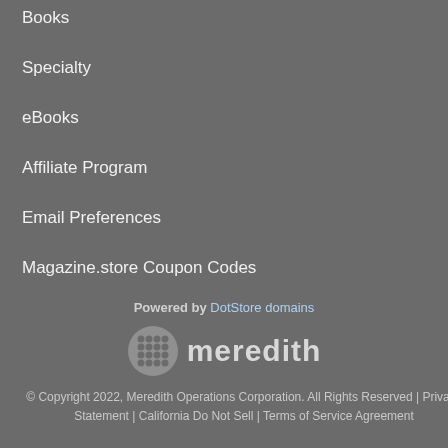Books
Specialty
eBooks
Affiliate Program
Email Preferences
Magazine.store Coupon Codes
Powered by DotStore domains
[Figure (logo): Meredith logo: a grid-pattern circular icon followed by the word 'meredith' in bold gray text]
© Copyright 2022, Meredith Operations Corporation. All Rights Reserved | Privacy Statement | California Do Not Sell | Terms of Service Agreement